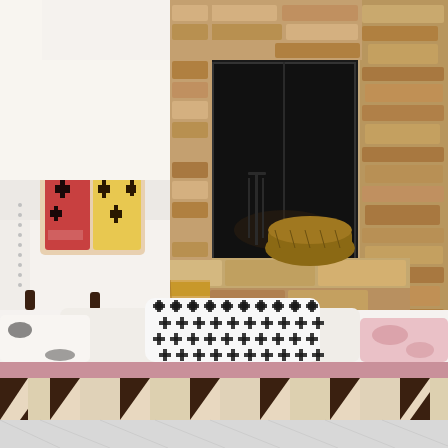[Figure (photo): Interior living room scene with a stone fireplace on the right, a white upholstered armchair with a colorful Kilim-style pillow on the left, hardwood floors with a patterned rug, and a white ottoman with a black cross-pattern pillow in the foreground.]
[Figure (photo): Interior architectural detail showing dark wooden ceiling beams against a cream/beige ceiling, with a lower portion showing a light gray geometric patterned surface.]